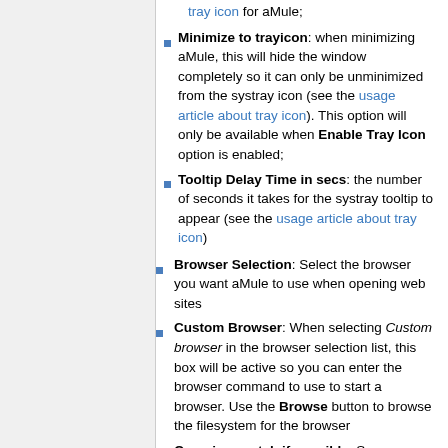tray icon for aMule;
Minimize to trayicon: when minimizing aMule, this will hide the window completely so it can only be unminimized from the systray icon (see the usage article about tray icon). This option will only be available when Enable Tray Icon option is enabled;
Tooltip Delay Time in secs: the number of seconds it takes for the systray tooltip to appear (see the usage article about tray icon)
Browser Selection: Select the browser you want aMule to use when opening web sites
Custom Browser: When selecting Custom browser in the browser selection list, this box will be active so you can enter the browser command to use to start a browser. Use the Browse button to browse the filesystem for the browser
Open in new tab if possible: Some browsers allow for pages to be started in